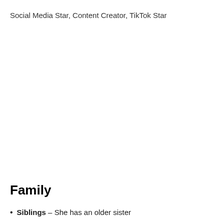Social Media Star, Content Creator, TikTok Star
Family
Siblings – She has an older sister